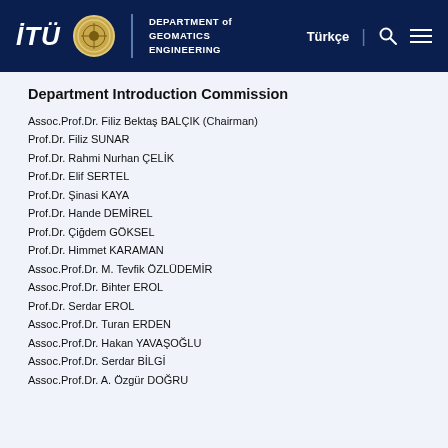İTÜ Department of Geomatics Engineering | Türkçe
Department Introduction Commission
Assoc.Prof.Dr. Filiz Bektaş BALÇIK (Chairman)
Prof.Dr. Filiz SUNAR
Prof.Dr. Rahmi Nurhan ÇELİK
Prof.Dr. Elif SERTEL
Prof.Dr. Şinasi KAYA
Prof.Dr. Hande DEMİREL
Prof.Dr. Çiğdem GÖKSEL
Prof.Dr. Himmet KARAMAN
Assoc.Prof.Dr. M. Tevfik ÖZLÜDEMİR
Assoc.Prof.Dr. Bihter EROL
Prof.Dr. Serdar EROL
Assoc.Prof.Dr. Turan ERDEN
Assoc.Prof.Dr. Hakan YAVAŞOĞLU
Assoc.Prof.Dr. Serdar BİLGİ
Assoc.Prof.Dr. A. Özgür DOĞRU